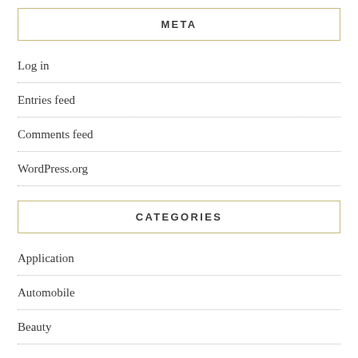META
Log in
Entries feed
Comments feed
WordPress.org
CATEGORIES
Application
Automobile
Beauty